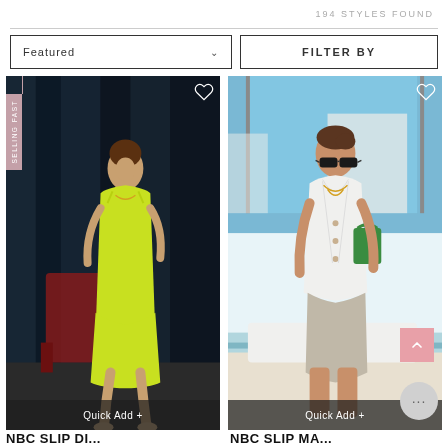194 STYLES FOUND
Featured ˅
FILTER BY
[Figure (photo): Model wearing a lime green satin slip dress, seated on a red chair against a dark blue velvet curtain background. SELLING FAST badge on left side.]
[Figure (photo): Woman wearing white vest top with green bag and sunglasses, seated outdoors near a pool area.]
Quick Add +
Quick Add +